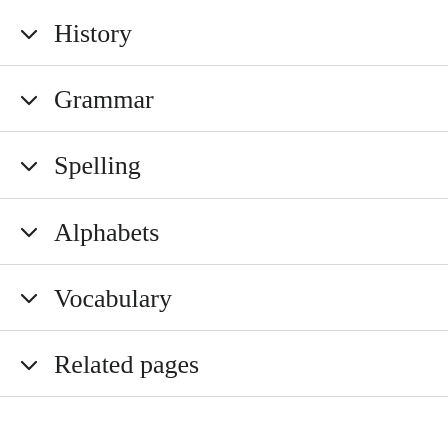History
Grammar
Spelling
Alphabets
Vocabulary
Related pages